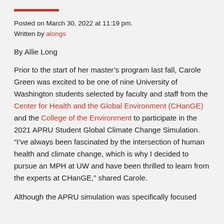Posted on March 30, 2022 at 11:19 pm.
Written by alongs
By Allie Long
Prior to the start of her master’s program last fall, Carole Green was excited to be one of nine University of Washington students selected by faculty and staff from the Center for Health and the Global Environment (CHanGE) and the College of the Environment to participate in the 2021 APRU Student Global Climate Change Simulation. “I’ve always been fascinated by the intersection of human health and climate change, which is why I decided to pursue an MPH at UW and have been thrilled to learn from the experts at CHanGE,” shared Carole.
Although the APRU simulation was specifically focused